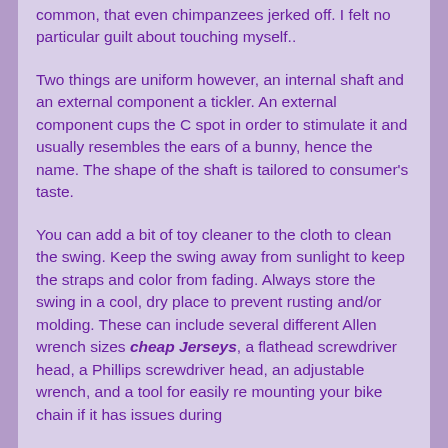common, that even chimpanzees jerked off. I felt no particular guilt about touching myself..
Two things are uniform however, an internal shaft and an external component a tickler. An external component cups the C spot in order to stimulate it and usually resembles the ears of a bunny, hence the name. The shape of the shaft is tailored to consumer's taste.
You can add a bit of toy cleaner to the cloth to clean the swing. Keep the swing away from sunlight to keep the straps and color from fading. Always store the swing in a cool, dry place to prevent rusting and/or molding. These can include several different Allen wrench sizes cheap Jerseys, a flathead screwdriver head, a Phillips screwdriver head, an adjustable wrench, and a tool for easily re mounting your bike chain if it has issues during